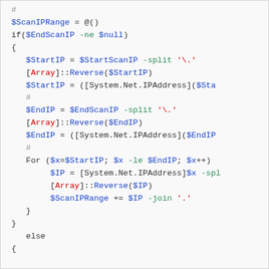[Figure (screenshot): PowerShell code snippet showing IP range scanning logic with variables $ScanIPRange, $StartIP, $EndIP, and a For loop using [System.Net.IPAddress] and [Array]::Reverse methods]